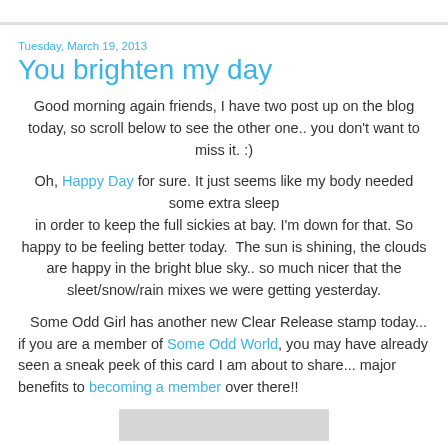Tuesday, March 19, 2013
You brighten my day
Good morning again friends, I have two post up on the blog today, so scroll below to see the other one.. you don't want to miss it. :)
Oh, Happy Day for sure. It just seems like my body needed some extra sleep in order to keep the full sickies at bay. I'm down for that. So happy to be feeling better today.  The sun is shining, the clouds are happy in the bright blue sky.. so much nicer that the sleet/snow/rain mixes we were getting yesterday.
Some Odd Girl has another new Clear Release stamp today... if you are a member of Some Odd World, you may have already seen a sneak peek of this card I am about to share... major benefits to becoming a member over there!!
[Figure (photo): Gray placeholder image at bottom of blog post]